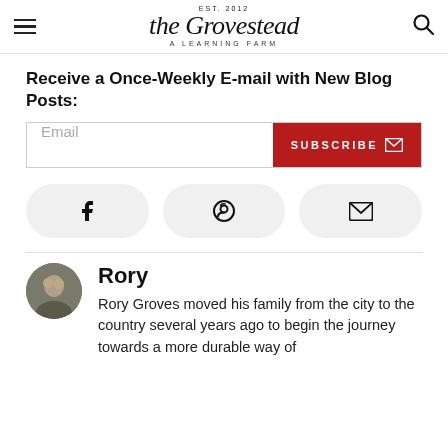EST. 2012 | the Grovestead | A LEARNING FARM
Receive a Once-Weekly E-mail with New Blog Posts:
[Figure (infographic): Email subscription form with text input field and red SUBSCRIBE button with envelope icon]
[Figure (infographic): Three social media icon buttons: Facebook, Pinterest, and Email/Envelope, each in a light gray rounded pill shape]
Rory
Rory Groves moved his family from the city to the country several years ago to begin the journey towards a more durable way of life. For more information, see our about page.